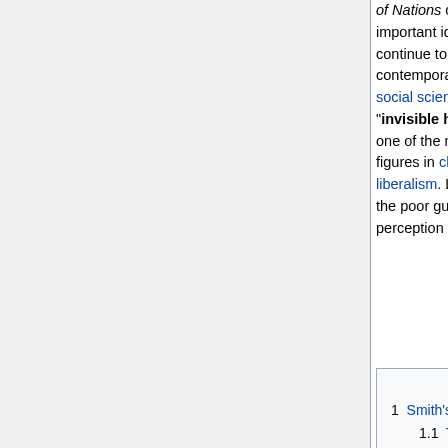of Nations contains several important ideas that continue to be relevant in contemporary politics and social science, such as the "invisible hand." He is also one of the most prominent figures in classical liberalism. Like Machiavelli, the poor guy's legacy is tarnished by a very unearned public perception as an evil dickhead.
| The Worldly Philosophers |
| --- |
| Daniel De Leon |
| Andrew W. Mellon |
| Hans-Hermann Hoppe |
| Ludwig von Mises |
| v - t - e |
Contents [hide]
1  Smith's views
1.1  The invisible hand
1.2  Adam Smith: Trickle-downer?
2  Often ignored quotes